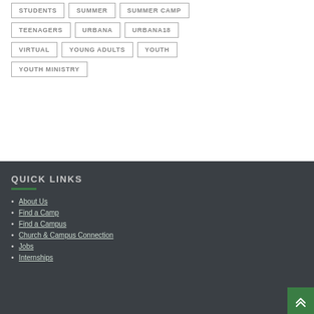STUDENTS
SUMMER
SUMMER CAMP
TEENAGERS
URBANA
URBANA18
VIRTUAL
YOUNG ADULTS
YOUTH
YOUTH MINISTRY
QUICK LINKS
About Us
Find a Camp
Find a Campus
Church & Campus Connection
Jobs
Internships